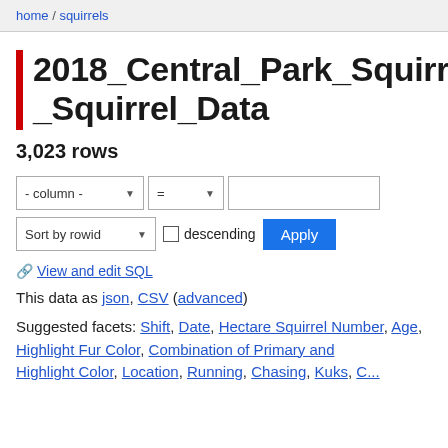home / squirrels
2018_Central_Park_Squirrel_Data
3,023 rows
- column - = [input field]
Sort by rowid  descending  Apply
🔗 View and edit SQL
This data as json, CSV (advanced)
Suggested facets: Shift, Date, Hectare Squirrel Number, Age, Highlight Fur Color, Combination of Primary and Highlight Color, Location, Running, Chasing, Kuks, C...